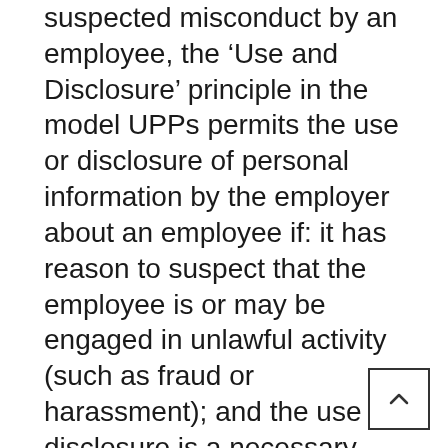suspected misconduct by an employee, the 'Use and Disclosure' principle in the model UPPs permits the use or disclosure of personal information by the employer about an employee if: it has reason to suspect that the employee is or may be engaged in unlawful activity (such as fraud or harassment); and the use or disclosure is a necessary part of its investigation or reporting its concerns to relevant persons or authorities. In addition, the employer may refuse to provide the